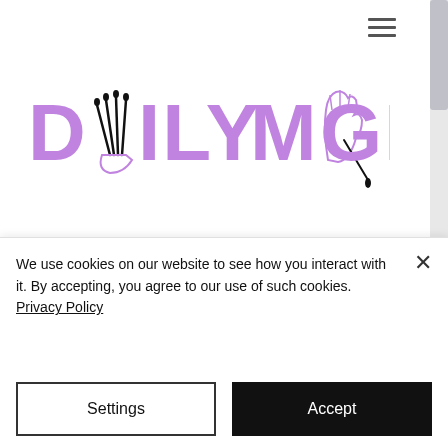[Figure (logo): Daily Magic brand logo with illustrated hands and nail/wand graphics in purple and black]
BLOG
Mindful Reads
Empower yourself with insights and shared knowledge on our blog. From healthy habits to tapping into your intuition,
We use cookies on our website to see how you interact with it. By accepting, you agree to our use of such cookies. Privacy Policy
Settings
Accept